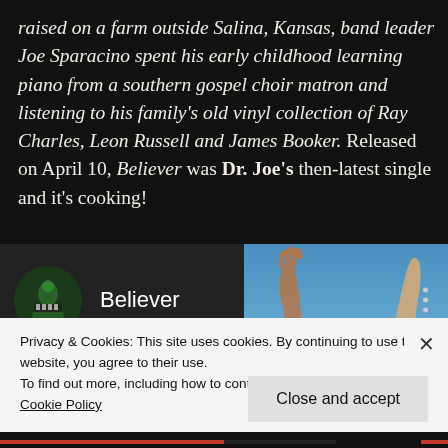raised on a farm outside Salina, Kansas, band leader Joe Sparacino spent his early childhood learning piano from a southern gospel choir matron and listening to his family's old vinyl collection of Ray Charles, Leon Russell and James Booker. Released on April 10, Believer was Dr. Joe's then-latest single and it's cooking!
[Figure (screenshot): Embedded music player widget showing 'Believer' track with circular artist avatar on left and hands raised against blue sky image on right, with three-dot menu icon]
Privacy & Cookies: This site uses cookies. By continuing to use this website, you agree to their use.
To find out more, including how to control cookies, see here: Cookie Policy
Close and accept